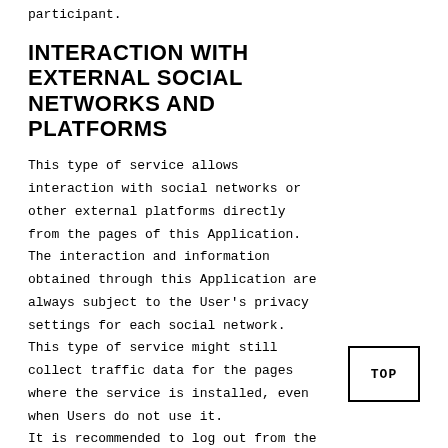participant.
INTERACTION WITH EXTERNAL SOCIAL NETWORKS AND PLATFORMS
This type of service allows interaction with social networks or other external platforms directly from the pages of this Application. The interaction and information obtained through this Application are always subject to the User's privacy settings for each social network. This type of service might still collect traffic data for the pages where the service is installed, even when Users do not use it. It is recommended to log out from the
TOP